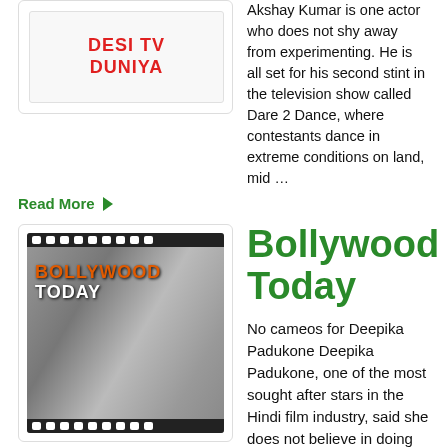[Figure (logo): Desi TV Duniya logo with red bold text on white background with decorative borders]
Akshay Kumar is one actor who does not shy away from experimenting. He is all set for his second stint in the television show called Dare 2 Dance, where contestants dance in extreme conditions on land, mid …
Read More ▶
[Figure (photo): Bollywood Today banner image showing a film strip collage with actors and the text BOLLYWOOD TODAY in orange and white on a grey background]
Bollywood Today
No cameos for Deepika Padukone Deepika Padukone, one of the most sought after stars in the Hindi film industry, said she does not believe in doing cameos in an interview promoting her next film, Finding Fanny. The movie